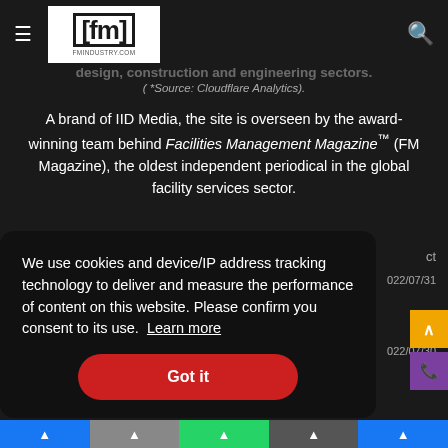FMIndustry.com is an online destination for up to 6,400 people per day visitors from the facilities management, real estate, commercial property, and design, construction and engineering sectors.
( *Source: Cloudflare Analytics).
A brand of IID Media, the site is overseen by the award-winning team behind Facilities Management Magazine™ (FM Magazine), the oldest independent periodical in the global facility services sector.
We use cookies and device/IP address tracking technology to deliver and measure the performance of content on this website. Please confirm you consent to its use.  Learn more
Got it